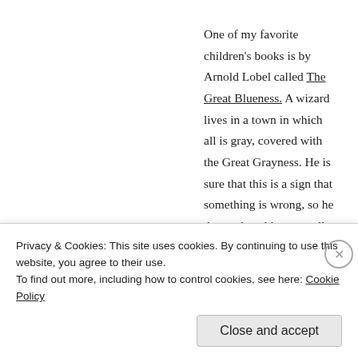One of my favorite children's books is by Arnold Lobel called The Great Blueness. A wizard lives in a town in which all is gray, covered with the Great Grayness. He is sure that this is a sign that something is wrong, so he descends to his gray cellar to see if he can concoct something that will remedy this. By mixing, probing and experimenting with what he already knows and has, he discovers first blue, then yellow, the red, one at a time, all of which he shares with the town to their amazement and delight. They discover shade and
Privacy & Cookies: This site uses cookies. By continuing to use this website, you agree to their use.
To find out more, including how to control cookies, see here: Cookie Policy
Close and accept